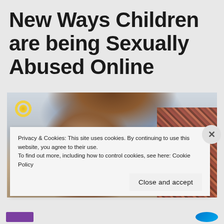New Ways Children are being Sexually Abused Online
[Figure (photo): Close-up photo of a young child with brown eyes and brown hair, looking at the camera, with a patterned fabric visible on the right side and a yellow flower/pattern in the top left corner.]
Privacy & Cookies: This site uses cookies. By continuing to use this website, you agree to their use.
To find out more, including how to control cookies, see here: Cookie Policy
Close and accept